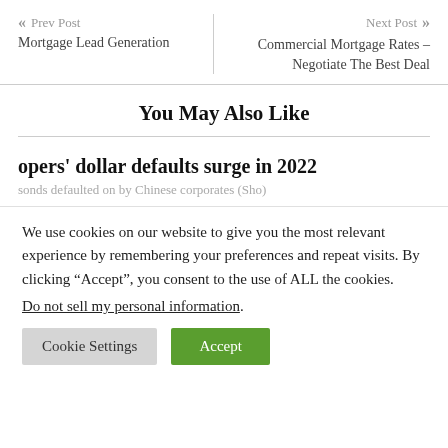Prev Post  Mortgage Lead Generation | Next Post  Commercial Mortgage Rates – Negotiate The Best Deal
You May Also Like
opers' dollar defaults surge in 2022
sonds defaulted on by Chinese corporates (Sho)
We use cookies on our website to give you the most relevant experience by remembering your preferences and repeat visits. By clicking “Accept”, you consent to the use of ALL the cookies. Do not sell my personal information.